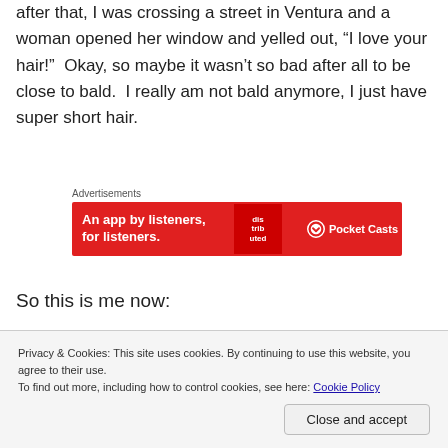after that, I was crossing a street in Ventura and a woman opened her window and yelled out, “I love your hair!”  Okay, so maybe it wasn’t so bad after all to be close to bald.  I really am not bald anymore, I just have super short hair.
[Figure (infographic): Advertisement banner: red background with text 'An app by listeners, for listeners.' and Pocket Casts logo, labeled 'Advertisements' above.]
So this is me now:
Privacy & Cookies: This site uses cookies. By continuing to use this website, you agree to their use.
To find out more, including how to control cookies, see here: Cookie Policy
Close and accept